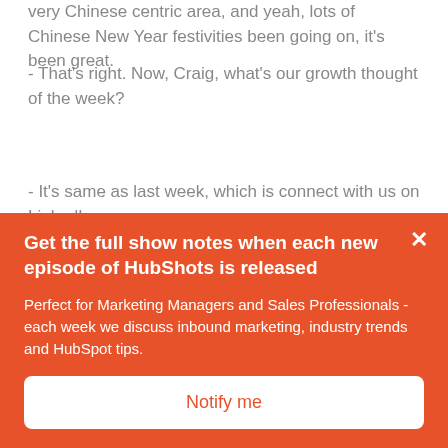very Chinese centric area, and yeah, lots of Chinese New Year festivities been going on, it's been great.
- That's right. Now, Craig, what's our growth thought of the week?
- It's same as last week, which is connect with us on LinkedIn.
- You've been getting a whole bunch of connections on LinkedIn, haven't you?
- Yes, I have and I'm enjoying it, and I'm gonna talk to
Get the full show notes when each new episode of HubShots is released
Perfect for Marketing Managers and Sales Professionals - each week we discuss inbound marketing, industry trends and HubSpot tips.
Notify me